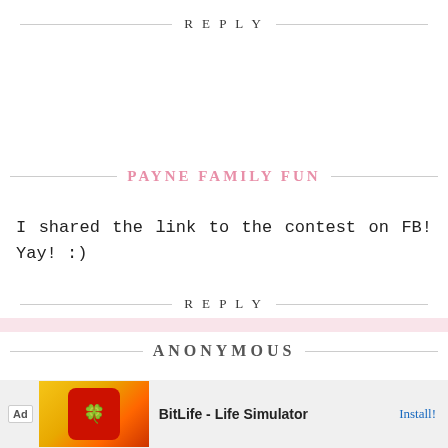REPLY
PAYNE FAMILY FUN
I shared the link to the contest on FB! Yay! :)
REPLY
ANONYMOUS
My hair in in a poneytail and my daughters hair is in pig tails :)